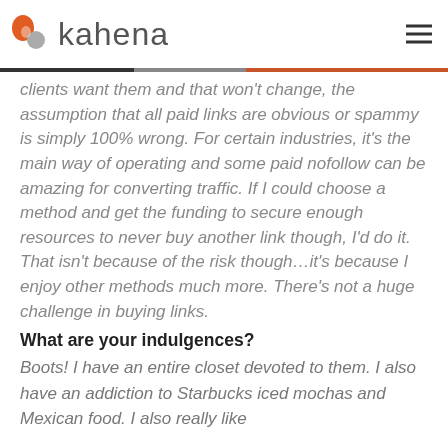kahena
clients want them and that won't change, the assumption that all paid links are obvious or spammy is simply 100% wrong. For certain industries, it's the main way of operating and some paid nofollow can be amazing for converting traffic. If I could choose a method and get the funding to secure enough resources to never buy another link though, I'd do it. That isn't because of the risk though…it's because I enjoy other methods much more. There's not a huge challenge in buying links.
What are your indulgences?
Boots! I have an entire closet devoted to them. I also have an addiction to Starbucks iced mochas and Mexican food. I also really like